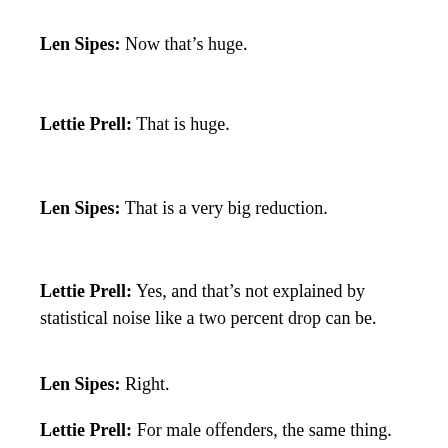Len Sipes:  Now that's huge.
Lettie Prell:  That is huge.
Len Sipes:  That is a very big reduction.
Lettie Prell:  Yes, and that's not explained by statistical noise like a two percent drop can be.
Len Sipes:  Right.
Lettie Prell:  For male offenders, the same thing.  For